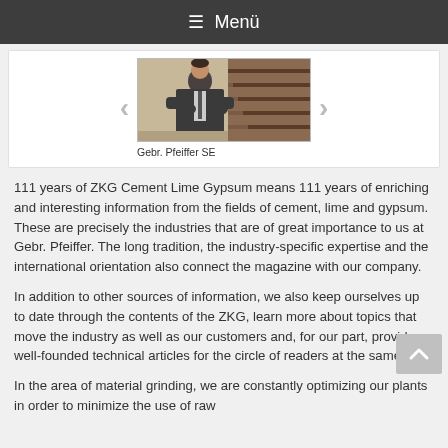≡ Menü
[Figure (photo): Man in dark suit with arms crossed standing in front of wooden staircase]
Gebr. Pfeiffer SE
111 years of ZKG Cement Lime Gypsum means 111 years of enriching and interesting information from the fields of cement, lime and gypsum. These are precisely the industries that are of great importance to us at Gebr. Pfeiffer. The long tradition, the industry-specific expertise and the international orientation also connect the magazine with our company.
In addition to other sources of information, we also keep ourselves up to date through the contents of the ZKG, learn more about topics that move the industry as well as our customers and, for our part, provide well-founded technical articles for the circle of readers at the same time.
In the area of material grinding, we are constantly optimizing our plants in order to minimize the use of raw…